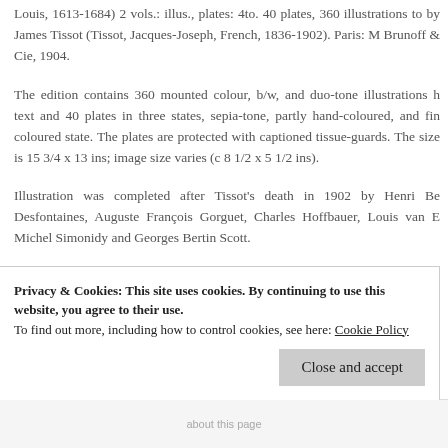Louis, 1613-1684) 2 vols.: illus., plates: 4to. 40 plates, 360 illustrations to by James Tissot (Tissot, Jacques-Joseph, French, 1836-1902). Paris: M Brunoff & Cie, 1904.
The edition contains 360 mounted colour, b/w, and duo-tone illustrations h text and 40 plates in three states, sepia-tone, partly hand-coloured, and fin coloured state. The plates are protected with captioned tissue-guards. The size is 15 3/4 x 13 ins; image size varies (c 8 1/2 x 5 1/2 ins).
Illustration was completed after Tissot's death in 1902 by Henri Be Desfontaines, Auguste François Gorguet, Charles Hoffbauer, Louis van E Michel Simonidy and Georges Bertin Scott.
Of the 561 copies printed, the John Rylands Library (Manchester) copy "exemplaire unique". As well as the triple set of the large plates in va states, and a series of proofs before letters of the illustrations appearing t text, it contains a water-colour drawing by Tissot ("Joseph presents his f
Privacy & Cookies: This site uses cookies. By continuing to use this website, you agree to their use.
To find out more, including how to control cookies, see here: Cookie Policy
about this page